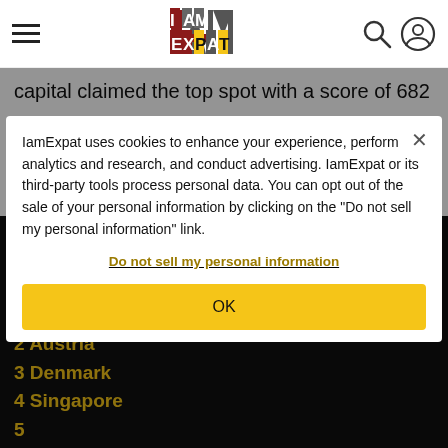IAmExpat header with hamburger menu, logo, search and user icons
capital claimed the top spot with a score of 682
Top 13 countries around the world for English proficiency
According to the most recent ranking of countries, fell short of receiving over
1
2 Austria
3 Denmark
4 Singapore
5 (Belgium)
7 Portugal
IamExpat uses cookies to enhance your experience, perform analytics and research, and conduct advertising. IamExpat or its third-party tools process personal data. You can opt out of the sale of your personal information by clicking on the "Do not sell my personal information" link.
Do not sell my personal information
OK